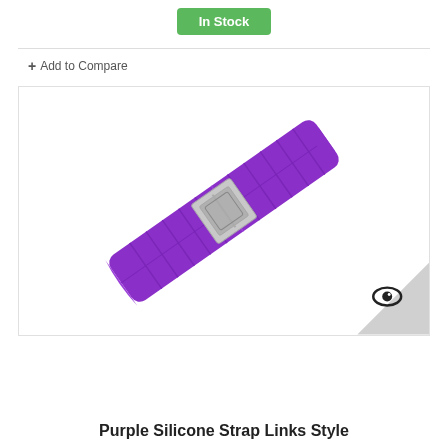In Stock
+ Add to Compare
[Figure (photo): Purple silicone watch strap with links style pattern and silver buckle, shown at a diagonal angle on white background. Bottom-right corner has a grey triangle with an eye icon.]
Purple Silicone Strap Links Style